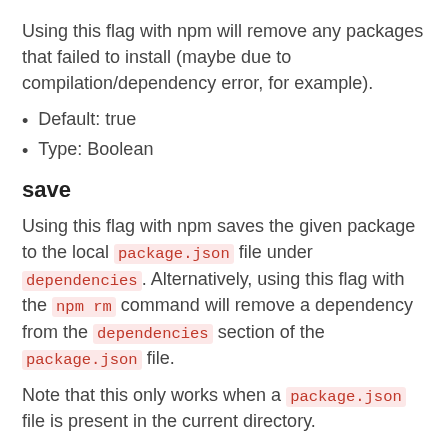Using this flag with npm will remove any packages that failed to install (maybe due to compilation/dependency error, for example).
Default: true
Type: Boolean
save
Using this flag with npm saves the given package to the local package.json file under dependencies. Alternatively, using this flag with the npm rm command will remove a dependency from the dependencies section of the package.json file.
Note that this only works when a package.json file is present in the current directory.